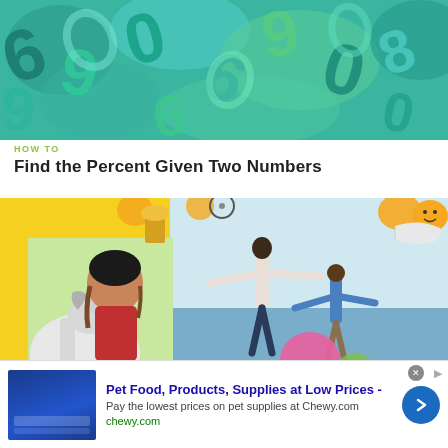[Figure (photo): Colorful 3D teal and green number digits scattered in a pile]
HOW TO
Find the Percent Given Two Numbers
[Figure (photo): Collage image: girl with horse on left, two people with arms outstretched facing water on right, colorful party decorations]
HOW TO
[Figure (photo): Advertisement: Pet Food, Products, Supplies at Low Prices - Chewy.com]